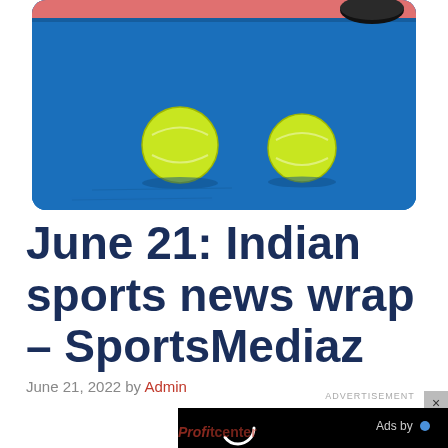[Figure (photo): Two yellow-green tennis balls and a black hockey puck on a blue sports court surface with a pink/red edge visible at top]
June 21: Indian sports news wrap – SportsMediaz
June 21, 2022 by Admin
[Figure (screenshot): Advertisement overlay with black video player background showing a loading spinner ring, 'Ads by' label in top right, and a close X button. Partially covers a red 'Profitcenter' watermark text at bottom.]
Profitcenter